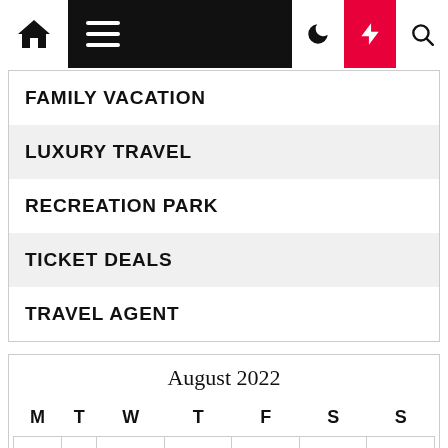Navigation bar with home, menu, dark mode, lightning, and search icons
FAMILY VACATION
LUXURY TRAVEL
RECREATION PARK
TICKET DEALS
TRAVEL AGENT
| August 2022 |  |  |  |  |  |  |
| --- | --- | --- | --- | --- | --- | --- |
| M | T | W | T | F | S | S |
| 1 | 2 | 3 | 4 | 5 | 6 | 7 |
| 8 | 9 | 10 | 11 | 12 | 13 | 14 |